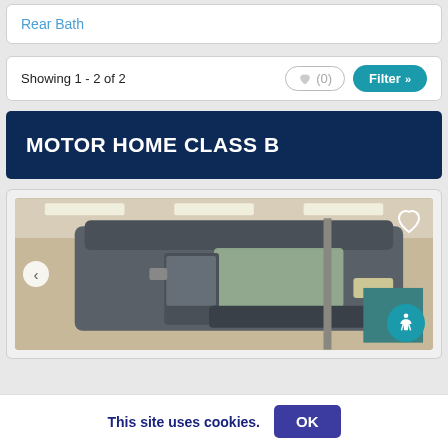Rear Bath
Showing 1 - 2 of 2
MOTOR HOME CLASS B
[Figure (photo): Motor home Class B van (grey) parked inside a dealership showroom, viewed from front-left angle. A navigation arrow (left chevron) is visible on the left side. A heart (favorite) icon is in the top-right corner. An accessibility icon button is in the bottom-right corner.]
This site uses cookies.